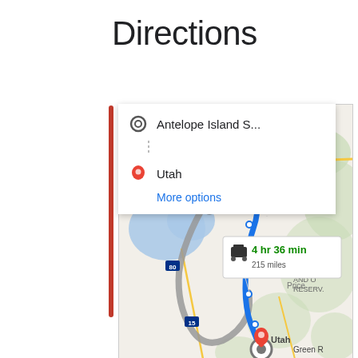Directions
[Figure (map): Google Maps screenshot showing driving directions from Antelope Island State Park to Utah (near Price area), with a blue route highlighted. Callout shows 4 hr 36 min, 215 miles. Map shows Ogden, Provo, Evanston, Price, and other Utah locations. Gray alternate route also visible.]
Antelope Island S...
Utah
More options
4 hr 36 min
215 miles